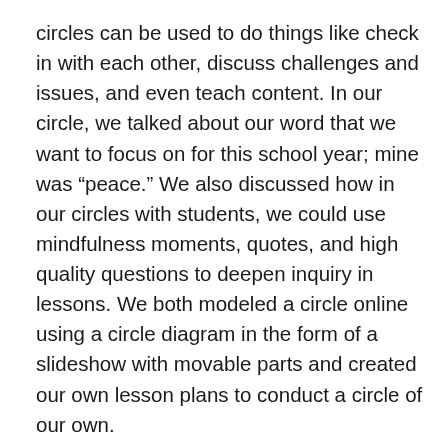circles can be used to do things like check in with each other, discuss challenges and issues, and even teach content. In our circle, we talked about our word that we want to focus on for this school year; mine was “peace.” We also discussed how in our circles with students, we could use mindfulness moments, quotes, and high quality questions to deepen inquiry in lessons. We both modeled a circle online using a circle diagram in the form of a slideshow with movable parts and created our own lesson plans to conduct a circle of our own.
Fast forward to this past fall, where I knew that students would be coming to school with so many emotions: fear, pain, joy, excitement, etc. After some contemplation, I decided early on that it was more important to proactively establish relationships with these students than teach